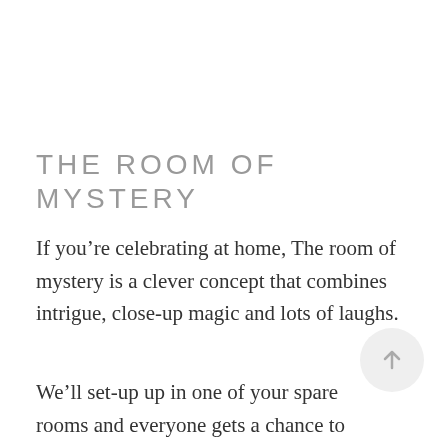THE ROOM OF MYSTERY
If you're celebrating at home, The room of mystery is a clever concept that combines intrigue, close-up magic and lots of laughs.
We'll set-up up in one of your spare rooms and everyone gets a chance to witness the action – the best seat in the house! The show is full of audience participation, so be prepared to be